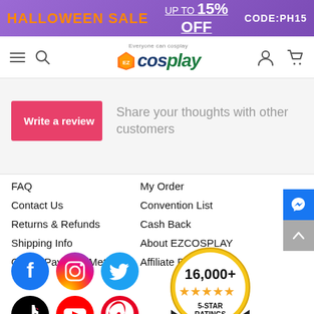HALLOWEEN SALE UP TO 15% OFF CODE:PH15
[Figure (logo): EZcosplay logo with tagline 'Everyone can cosplay']
Write a review
Share your thoughts with other customers
FAQ
Contact Us
Returns & Refunds
Shipping Info
Offline Payment Method
My Order
Convention List
Cash Back
About EZCOSPLAY
Affiliate Program
[Figure (other): Social media icons: Facebook, Instagram, Twitter, TikTok, YouTube, Pinterest]
[Figure (infographic): 16,000+ 5-STAR RATINGS badge with gold stars and Shopper Approved seal]